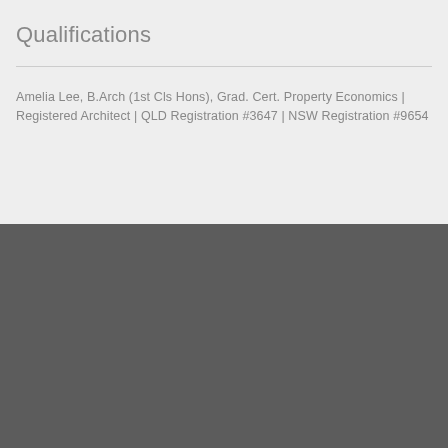Qualifications
Amelia Lee, B.Arch (1st Cls Hons), Grad. Cert. Property Economics | Registered Architect | QLD Registration #3647 | NSW Registration #9654